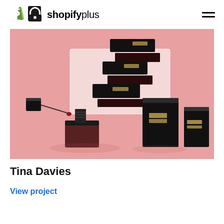shopifyplus
[Figure (photo): Product photo of Tina Davies cosmetics — several black rectangular lip product tubes and a lip gloss with applicator wand, arranged on a pink surface with a frosted acrylic block in the background.]
Tina Davies
View project